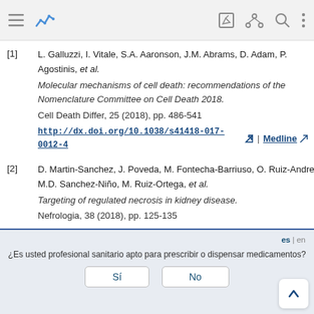[1] L. Galluzzi, I. Vitale, S.A. Aaronson, J.M. Abrams, D. Adam, P. Agostinis, et al. Molecular mechanisms of cell death: recommendations of the Nomenclature Committee on Cell Death 2018. Cell Death Differ, 25 (2018), pp. 486-541 http://dx.doi.org/10.1038/s41418-017-0012-4 | Medline
[2] D. Martin-Sanchez, J. Poveda, M. Fontecha-Barriuso, O. Ruiz-Andres, M.D. Sanchez-Niño, M. Ruiz-Ortega, et al. Targeting of regulated necrosis in kidney disease. Nefrologia, 38 (2018), pp. 125-135 http://dx.doi.org/10.1016/j.nefro.2017.04.004 | Medline
¿Es usted profesional sanitario apto para prescribir o dispensar medicamentos?